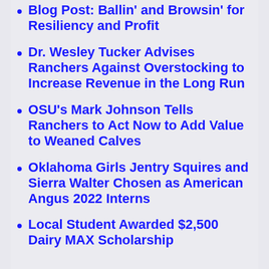Blog Post: Ballin' and Browsin' for Resiliency and Profit
Dr. Wesley Tucker Advises Ranchers Against Overstocking to Increase Revenue in the Long Run
OSU's Mark Johnson Tells Ranchers to Act Now to Add Value to Weaned Calves
Oklahoma Girls Jentry Squires and Sierra Walter Chosen as American Angus 2022 Interns
Local Student Awarded $2,500 Dairy MAX Scholarship